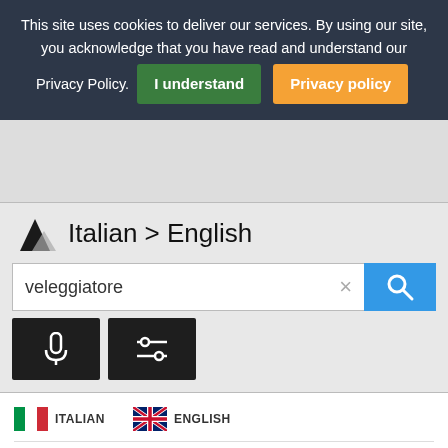This site uses cookies to deliver our services. By using our site, you acknowledge that you have read and understand our Privacy Policy. I understand  Privacy policy
[Figure (screenshot): Gray blank/advertisement area]
[Figure (screenshot): Translation widget showing Italian > English with search input 'veleggiatore', microphone and settings buttons, flag icons for Italian and English, and partial translation text 'glider, sailor, glider pilot']